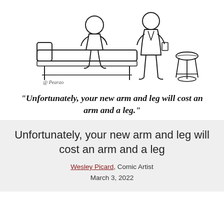[Figure (illustration): A black-and-white comic strip illustration showing a patient sitting on an exam table and a doctor standing beside them. A small medical stool is visible to the right. Signed 'Pearao' in the lower left corner.]
“Unfortunately, your new arm and leg will cost an arm and a leg.”
Unfortunately, your new arm and leg will cost an arm and a leg
Wesley Picard, Comic Artist
March 3, 2022